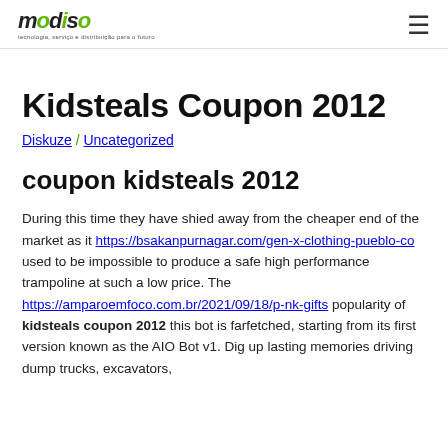modiso logo | hamburger menu
Kidsteals Coupon 2012
Diskuze / Uncategorized
coupon kidsteals 2012
During this time they have shied away from the cheaper end of the market as it https://bsakanpurnagar.com/gen-x-clothing-pueblo-co used to be impossible to produce a safe high performance trampoline at such a low price. The https://amparoemfoco.com.br/2021/09/18/p-nk-gifts popularity of kidsteals coupon 2012 this bot is farfetched, starting from its first version known as the AIO Bot v1. Dig up lasting memories driving dump trucks, excavators,